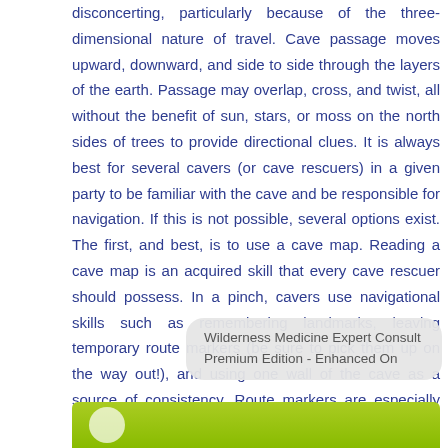disconcerting, particularly because of the three-dimensional nature of travel. Cave passage moves upward, downward, and side to side through the layers of the earth. Passage may overlap, cross, and twist, all without the benefit of sun, stars, or moss on the north sides of trees to provide directional clues. It is always best for several cavers (or cave rescuers) in a given party to be familiar with the cave and be responsible for navigation. If this is not possible, several options exist. The first, and best, is to use a cave map. Reading a cave map is an acquired skill that every cave rescuer should possess. In a pinch, cavers use navigational skills such as remembering landmarks, leaving temporary route markers (be sure to pick them up on the way out!), and using one wall of the cave as a source of consistency. Route markers are especially useful in cave rescue so … hand.
Wilderness Medicine Expert Consult Premium Edition - Enhanced On
[Figure (illustration): Green banner at the bottom of the page, partially visible, with a circular icon on the left.]